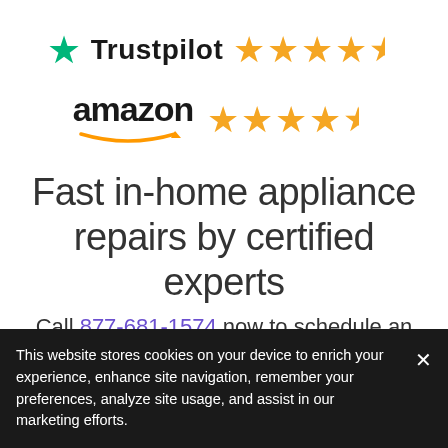[Figure (logo): Trustpilot logo with green star and text 'Trustpilot', followed by 4.5 gold stars rating]
[Figure (logo): Amazon logo with arrow smile underneath, followed by 4.5 gold stars rating]
Fast in-home appliance repairs by certified experts
Call 877-681-1574 now to schedule an
This website stores cookies on your device to enrich your experience, enhance site navigation, remember your preferences, analyze site usage, and assist in our marketing efforts.